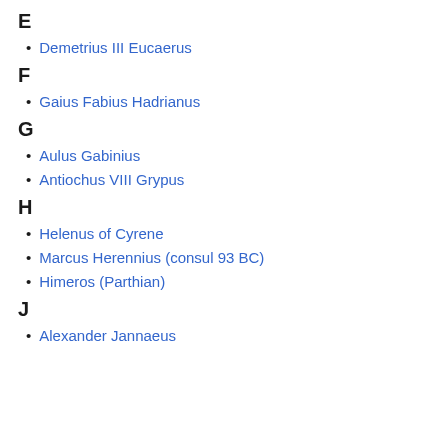E
Demetrius III Eucaerus
F
Gaius Fabius Hadrianus
G
Aulus Gabinius
Antiochus VIII Grypus
H
Helenus of Cyrene
Marcus Herennius (consul 93 BC)
Himeros (Parthian)
J
Alexander Jannaeus